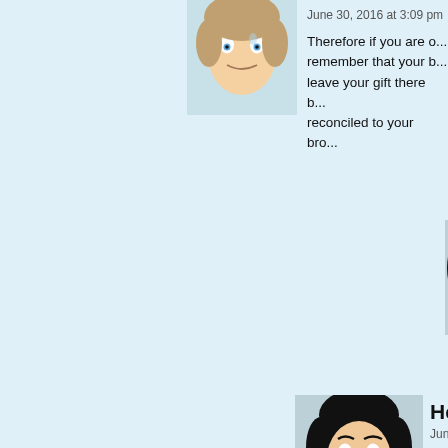[Figure (illustration): Cartoon avatar of a person with light skin and blue eyes, short wavy hair]
June 30, 2016 at 3:09 pm
Therefore if you are o... remember that your b... leave your gift there b... reconciled to your bro...
[Figure (illustration): Cartoon avatar of Reltzik — person with dark curly hair, glasses, smiling]
Reltzik
June 30, 2016 at 6:1...
Yeah, I'd say that...
[Figure (illustration): Cartoon avatar of Heather — person with dark hair, hand on chin, thoughtful expression]
Heather
June 30, 2016 at 2:14 am | #
No people yelling that Becky is 'so... comments as far as I can tell. I am...
(Like seriously while I get disliking crap or the utterly tasteless nazi jo... and annoying and even offensive a... some of the other times, like when or whoever, usually hiding it behind apparently they want people to act... complete doormat, letting bigots tr... soooo difficult to be accepted.) Because she can totally be accepte... Carol so easily if she plays the res...